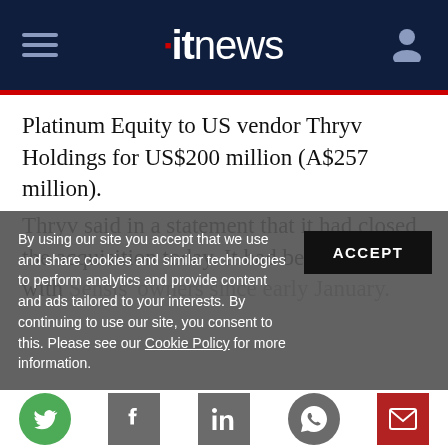itnews
Platinum Equity to US vendor Thryv Holdings for US$200 million (A$257 million).
Thryv said in a statement that it had closed the acquisition today. It had been in talks with Sensis' owners since early January.
By using our site you accept that we use and share cookies and similar technologies to perform analytics and provide content and ads tailored to your interests. By continuing to use our site, you consent to this. Please see our Cookie Policy for more information.